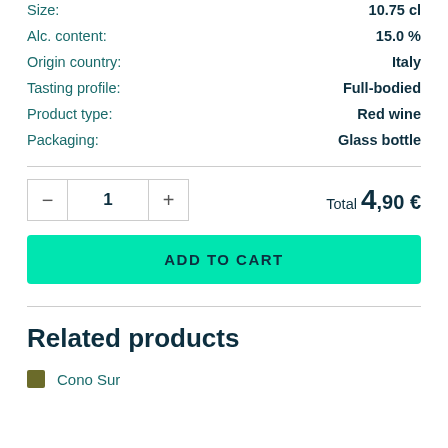| Attribute | Value |
| --- | --- |
| Size: | 10.75 cl |
| Alc. content: | 15.0 % |
| Origin country: | Italy |
| Tasting profile: | Full-bodied |
| Product type: | Red wine |
| Packaging: | Glass bottle |
Total 4,90 €
ADD TO CART
Related products
Cono Sur